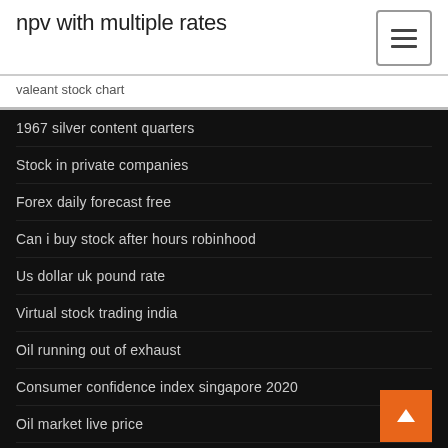npv with multiple rates
valeant stock chart
1967 silver content quarters
Stock in private companies
Forex daily forecast free
Can i buy stock after hours robinhood
Us dollar uk pound rate
Virtual stock trading india
Oil running out of exhaust
Consumer confidence index singapore 2020
Oil market live price
How did they clean up the gulf oil spill